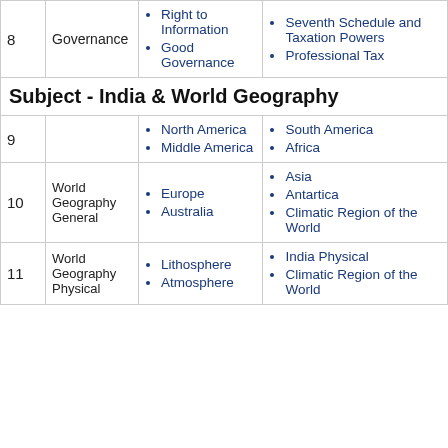| # | Topic | Column 1 | Column 2 |
| --- | --- | --- | --- |
| 8 | Governance | Right to Information
Good Governance | Seventh Schedule and Taxation Powers
Professional Tax |
|  | Subject - India & World Geography |  |  |
| 9 |  | North America
Middle America | South America
Africa |
| 10 | World Geography General | Europe
Australia | Asia
Antartica
Climatic Region of the World |
| 11 | World Geography Physical | Lithosphere
Atmosphere | India Physical
Climatic Region of the World |